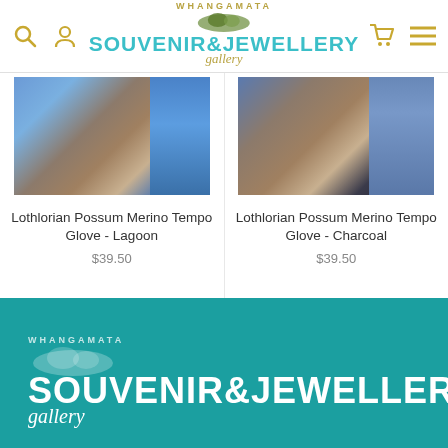[Figure (screenshot): Whangamata Souvenir & Jewellery Gallery website header with logo, search icon, user icon, cart icon, and menu icon]
[Figure (photo): Lothlorian Possum Merino Tempo Glove in Lagoon color - blue/aqua knit gloves on wooden background]
Lothlorian Possum Merino Tempo Glove - Lagoon
$39.50
[Figure (photo): Lothlorian Possum Merino Tempo Glove in Charcoal color - dark navy/charcoal knit gloves on wooden background]
Lothlorian Possum Merino Tempo Glove - Charcoal
$39.50
[Figure (logo): Whangamata Souvenir & Jewellery Gallery logo in white on teal/turquoise background with decorative snow/sparkle dots]